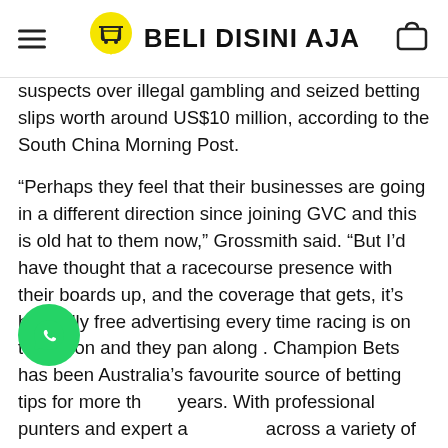Beli Disini Aja
suspects over illegal gambling and seized betting slips worth around US$10 million, according to the South China Morning Post.
“Perhaps they feel that their businesses are going in a different direction since joining GVC and this is old hat to them now,” Grossmith said. “But I’d have thought that a racecourse presence with their boards up, and the coverage that gets, it’s basically free advertising every time racing is on television and they pan along . Champion Bets has been Australia’s favourite source of betting tips for more than years. With professional punters and expert analysts across a variety of sports including Horse Racing, NRL, AFL, NBA, NFL, Golf and more; there’s a membership for everyone. So we’ll be speaking to a